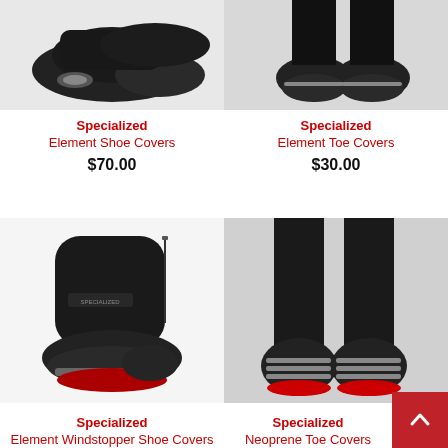[Figure (photo): Specialized Element Shoe Covers product photo - top left, black cycling shoe covers]
Specialized
Element Shoe Covers
$70.00
[Figure (photo): Specialized Element Toe Covers product photo - top right, black cycling toe covers]
Specialized
Element Toe Covers
$30.00
[Figure (photo): Specialized Element Windstopper Shoe Covers product photo - bottom left, tall black cycling shoe covers]
Specialized
Element Windstopper Shoe Covers
[Figure (photo): Specialized Neoprene Toe Covers product photo - bottom right, back of legs with black toe covers]
Specialized
Neoprene Toe Covers